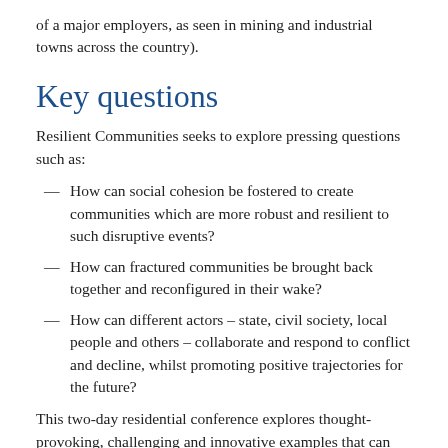of a major employers, as seen in mining and industrial towns across the country).
Key questions
Resilient Communities seeks to explore pressing questions such as:
How can social cohesion be fostered to create communities which are more robust and resilient to such disruptive events?
How can fractured communities be brought back together and reconfigured in their wake?
How can different actors – state, civil society, local people and others – collaborate and respond to conflict and decline, whilst promoting positive trajectories for the future?
This two-day residential conference explores thought-provoking, challenging and innovative examples that can